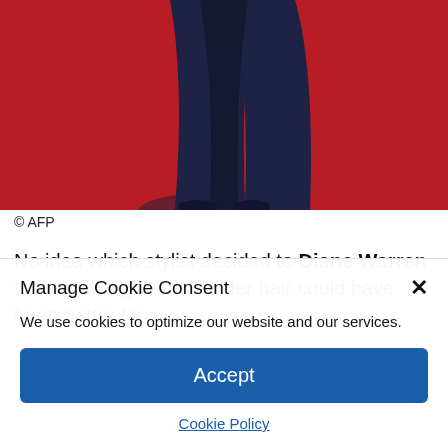[Figure (photo): Bottom portion of a person wearing a dark navy blue outfit/suit standing on a red carpet background. Only the lower body and feet are visible.]
© AFP
No idea which stylist decided to Diane Warren to wear this green suit. Her hair could have been better too.
Manage Cookie Consent
We use cookies to optimize our website and our services.
Accept
Cookie Policy